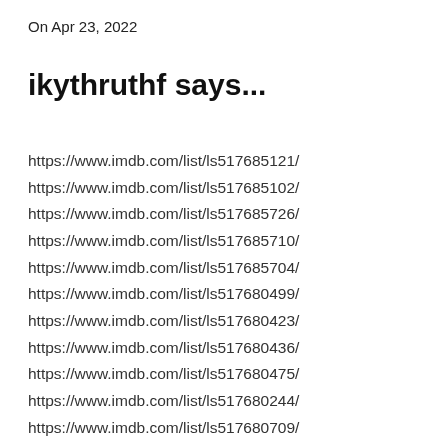On Apr 23, 2022
ikythruthf says...
https://www.imdb.com/list/ls517685121/
https://www.imdb.com/list/ls517685102/
https://www.imdb.com/list/ls517685726/
https://www.imdb.com/list/ls517685710/
https://www.imdb.com/list/ls517685704/
https://www.imdb.com/list/ls517680499/
https://www.imdb.com/list/ls517680423/
https://www.imdb.com/list/ls517680436/
https://www.imdb.com/list/ls517680475/
https://www.imdb.com/list/ls517680244/
https://www.imdb.com/list/ls517680709/
https://www.imdb.com/list/ls517680543/
https://www.imdb.com/list/ls517680534/